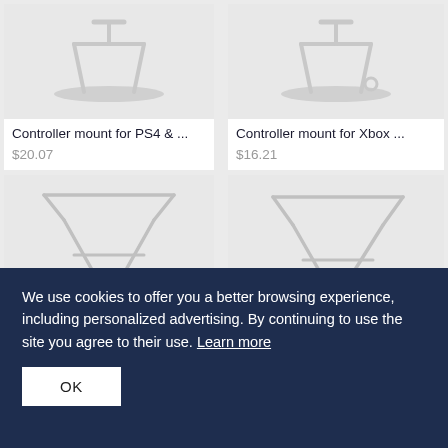[Figure (photo): Controller mount for PS4 product image - white metal stand on light background]
[Figure (photo): Controller mount for Xbox product image - white metal stand on light background]
Controller mount for PS4 & ...
$20.07
Controller mount for Xbox ...
$16.21
[Figure (photo): Controller mount product image bottom left - white wire stand]
[Figure (photo): Controller mount product image bottom right - white wire stand]
We use cookies to offer you a better browsing experience, including personalized advertising. By continuing to use the site you agree to their use. Learn more
OK